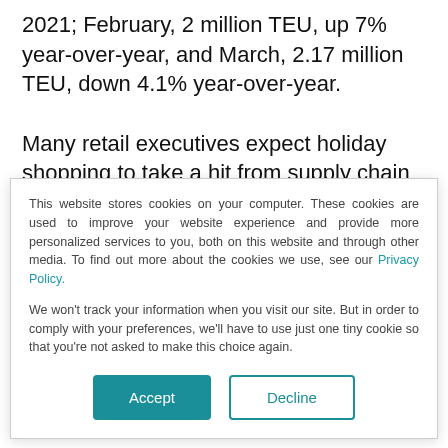2021; February, 2 million TEU, up 7% year-over-year, and March, 2.17 million TEU, down 4.1% year-over-year.
Many retail executives expect holiday shopping to take a hit from supply chain disruptions and inflation, according to a
This website stores cookies on your computer. These cookies are used to improve your website experience and provide more personalized services to you, both on this website and through other media. To find out more about the cookies we use, see our Privacy Policy.

We won't track your information when you visit our site. But in order to comply with your preferences, we'll have to use just one tiny cookie so that you're not asked to make this choice again.